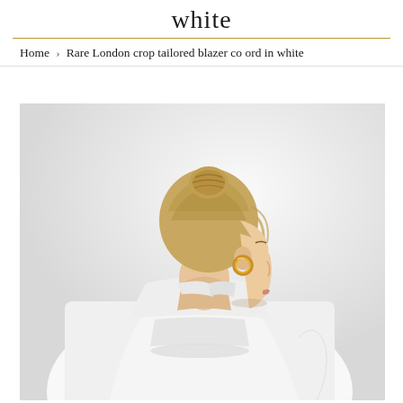white
Home › Rare London crop tailored blazer co ord in white
[Figure (photo): Woman with blonde hair in a bun, wearing a white crop tailored blazer, photographed from behind/side profile showing gold hoop earrings, against a light grey background.]